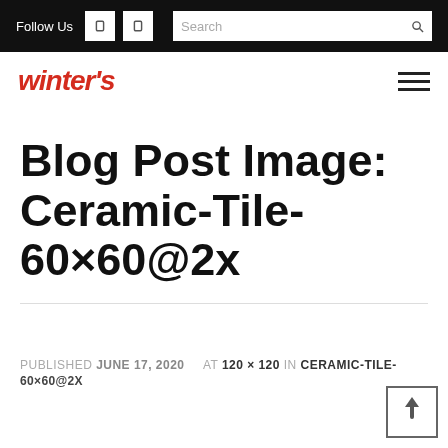Follow Us  Search
[Figure (logo): Winter's logo in red italic bold text]
Blog Post Image: Ceramic-Tile-60×60@2x
PUBLISHED JUNE 17, 2020  AT 120 × 120 IN CERAMIC-TILE-60×60@2X